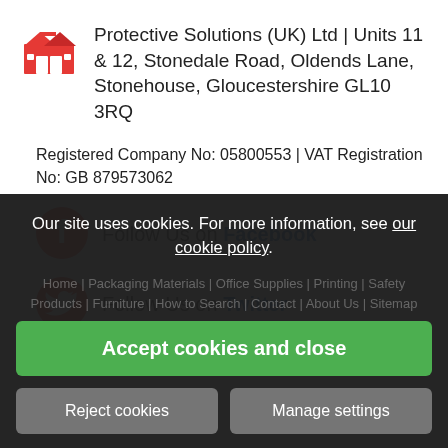Protective Solutions (UK) Ltd | Units 11 & 12, Stonedale Road, Oldends Lane, Stonehouse, Gloucestershire GL10 3RQ
Registered Company No: 05800553 | VAT Registration No: GB 879573062
Follow Us on Facebook
Follow Us on Twitter
Our site uses cookies. For more information, see our cookie policy.
Home | Packaging Materials | Office Supplies | Printing | Safety Products | ...
Accept cookies and close
Reject cookies
Manage settings